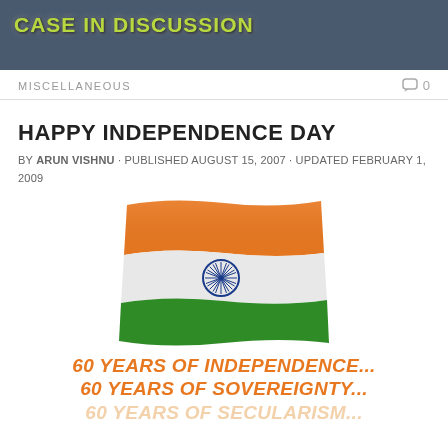CASE IN DISCUSSION
MISCELLANEOUS	0
HAPPY INDEPENDENCE DAY
BY ARUN VISHNU · PUBLISHED AUGUST 15, 2007 · UPDATED FEBRUARY 1, 2009
[Figure (illustration): Animated Indian national flag waving, showing saffron, white, and green horizontal stripes with the Ashoka Chakra in navy blue at the center of the white stripe.]
60 YEARS OF INDEPENDENCE...
60 YEARS OF SOVEREIGNTY...
60 YEARS OF SECULARISM...